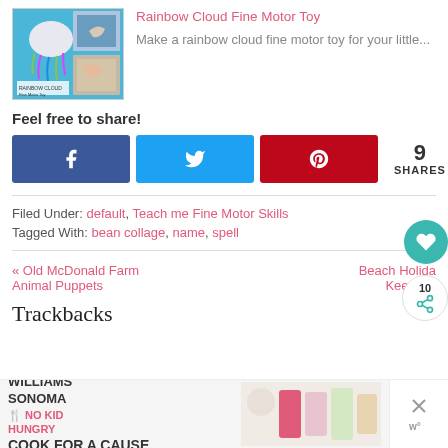[Figure (photo): Rainbow Cloud Fine Motor Toy - collage of craft images on blue background]
Rainbow Cloud Fine Motor Toy
Make a rainbow cloud fine motor toy for your little...
Feel free to share!
[Figure (infographic): Social share buttons: Facebook, Twitter, Pinterest, with 9 SHARES count]
Filed Under: default, Teach me Fine Motor Skills
Tagged With: bean collage, name, spell
« Old McDonald Farm Animal Puppets
Beach Holiday Keepsak
Trackbacks
[Figure (photo): Williams Sonoma No Kid Hungry Cook for a Cause advertisement banner]